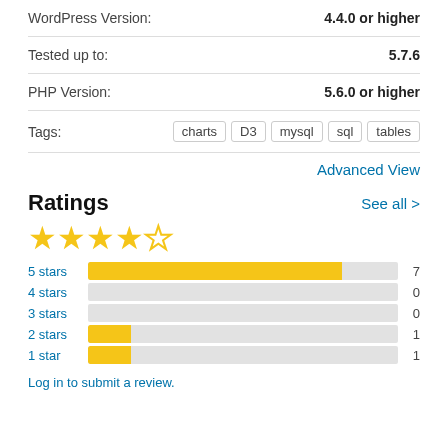WordPress Version: 4.4.0 or higher
Tested up to: 5.7.6
PHP Version: 5.6.0 or higher
Tags: charts D3 mysql sql tables
Advanced View
Ratings
See all >
[Figure (bar-chart): Ratings distribution]
Log in to submit a review.